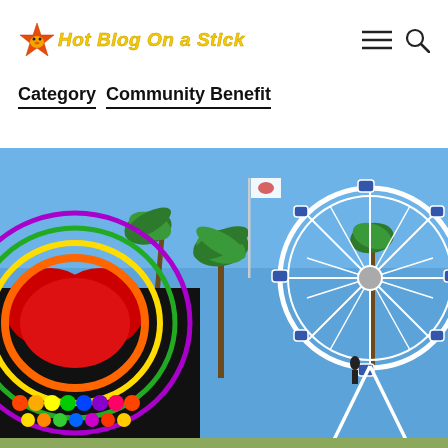Hot Blog On a Stick
Category   Community Benefit
[Figure (photo): County fair scene with a colorful carnival ride on the left, a large Ferris wheel on the right, palm trees in the background, a flag, and blue sky.]